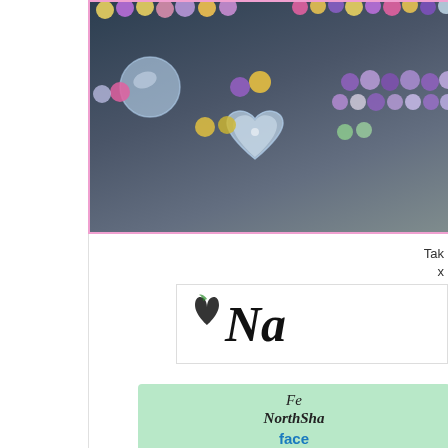[Figure (photo): Close-up photograph of colorful glass bead bracelets on a dark grey/blue background. Beads in colors including pink, yellow, purple, and clear/crystal. A clear crystal heart-shaped charm hangs from one of the bracelets. The image is partially cropped and has a light pink border.]
Tak
x
[Figure (logo): A logo/signature showing a heart symbol followed by cursive script text starting with 'Na' — appears to be a handmade jewelry brand logo on white background.]
[Figure (infographic): A mint green banner/badge with text: 'Fe' (first line), 'NorthSha' (second line in italic bold script), 'face' (third line in blue bold text). Appears to be a Facebook follow/fan page badge for NorthShore something, partially cropped.]